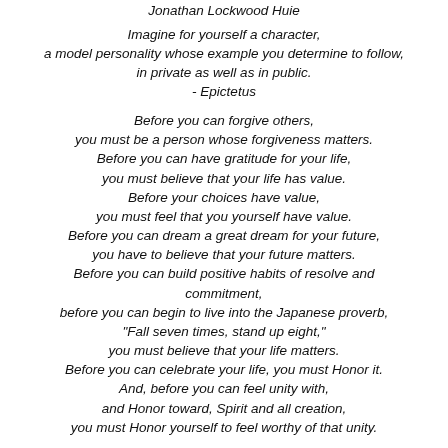Jonathan Lockwood Huie
Imagine for yourself a character, a model personality whose example you determine to follow, in private as well as in public. - Epictetus
Before you can forgive others, you must be a person whose forgiveness matters. Before you can have gratitude for your life, you must believe that your life has value. Before your choices have value, you must feel that you yourself have value. Before you can dream a great dream for your future, you have to believe that your future matters. Before you can build positive habits of resolve and commitment, before you can begin to live into the Japanese proverb, "Fall seven times, stand up eight," you must believe that your life matters. Before you can celebrate your life, you must Honor it. And, before you can feel unity with, and Honor toward, Spirit and all creation, you must Honor yourself to feel worthy of that unity.